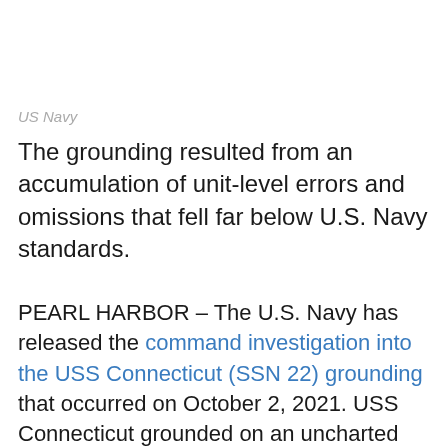US Navy
The grounding resulted from an accumulation of unit-level errors and omissions that fell far below U.S. Navy standards.
PEARL HARBOR – The U.S. Navy has released the command investigation into the USS Connecticut (SSN 22) grounding that occurred on October 2, 2021. USS Connecticut grounded on an uncharted seamount while operating submerged in a poorly surveyed area in international waters in the Indo-Pacific region. The investigation determined the grounding was caused by...